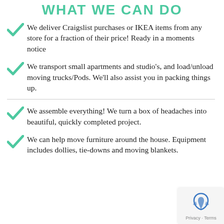WHAT WE CAN DO
We deliver Craigslist purchases or IKEA items from any store for a fraction of their price! Ready in a moments notice
We transport small apartments and studio's, and load/unload moving trucks/Pods. We'll also assist you in packing things up.
We assemble everything! We turn a box of headaches into beautiful, quickly completed project.
We can help move furniture around the house. Equipment includes dollies, tie-downs and moving blankets.